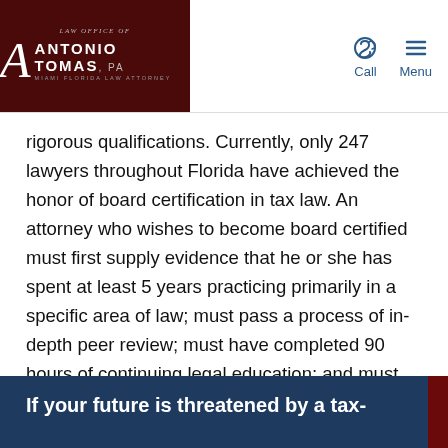Law Office of Antonio Tomas, P.A. — Call | Menu
rigorous qualifications. Currently, only 247 lawyers throughout Florida have achieved the honor of board certification in tax law. An attorney who wishes to become board certified must first supply evidence that he or she has spent at least 5 years practicing primarily in a specific area of law; must pass a process of in-depth peer review; must have completed 90 hours of continuing legal education; and must have passed an examination of legal knowledge, skill and proficiency. Only board-certified lawyers are permitted to advertise themselves as being specialists or experts.
If your future is threatened by a tax-